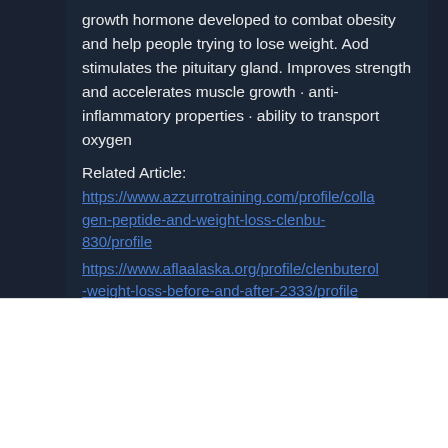growth hormone developed to combat obesity and help people trying to lose weight. Aod stimulates the pituitary gland. Improves strength and accelerates muscle growth · anti-inflammatory properties · ability to transport oxygen
Related Article:
https://www.azzurrotraining.com/profile/collagen-peptide-and-weight-loss-clenbu-830/profile
https://www.aflaalaska.org/profile/clenbuterol-weight-loss-before-and-after-2333/profile
We use cookies and similar technologies to enable services and functionality on our site and to understand your interaction with our service. By clicking on accept, you agree to our use of such technologies for marketing and analytics.
Cookie Settings
Accept